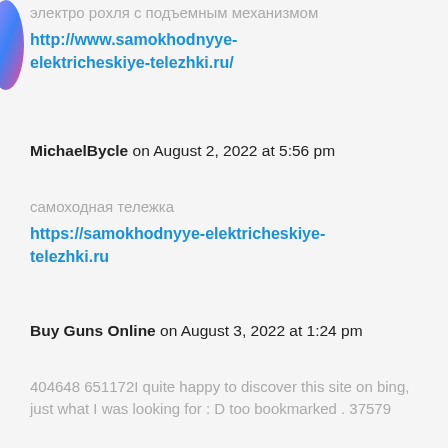электро рохля с подъемным механизмом
http://www.samokhodnyye-elektricheskiye-telezhki.ru/
MichaelBycle on August 2, 2022 at 5:56 pm
самоходная тележка
https://samokhodnyye-elektricheskiye-telezhki.ru
Buy Guns Online on August 3, 2022 at 1:24 pm
404648 651172I quite happy to discover this site on bing, just what I was looking for : D too bookmarked . 37579